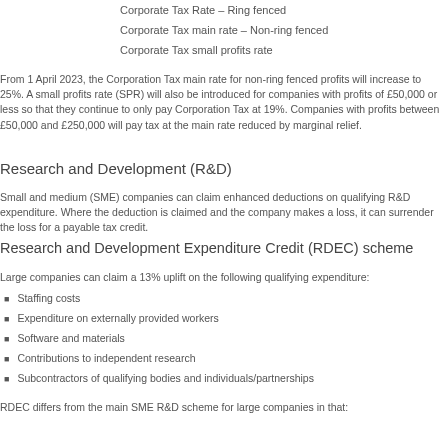Corporate Tax Rate – Ring fenced
Corporate Tax main rate – Non-ring fenced
Corporate Tax small profits rate
From 1 April 2023, the Corporation Tax main rate for non-ring fenced profits will increase to 25%. A small profits rate (SPR) will also be introduced for companies with profits of £50,000 or less so that they continue to only pay Corporation Tax at 19%. Companies with profits between £50,000 and £250,000 will pay tax at the main rate reduced by marginal relief.
Research and Development (R&D)
Small and medium (SME) companies can claim enhanced deductions on qualifying R&D expenditure. Where the deduction is claimed and the company makes a loss, it can surrender the loss for a payable tax credit.
Research and Development Expenditure Credit (RDEC) scheme
Large companies can claim a 13% uplift on the following qualifying expenditure:
Staffing costs
Expenditure on externally provided workers
Software and materials
Contributions to independent research
Subcontractors of qualifying bodies and individuals/partnerships
RDEC differs from the main SME R&D scheme for large companies in that: